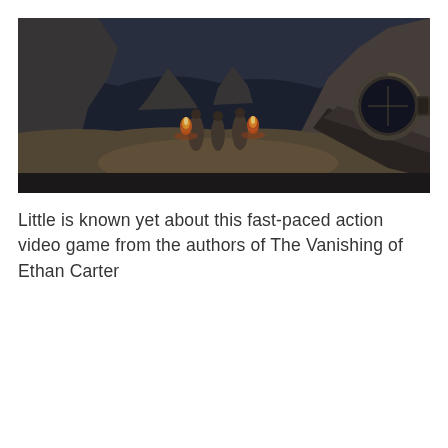[Figure (screenshot): Dark action video game screenshot showing a first-person perspective with a rifle scope visible on the right side, and several enemies with fire/torches visible in a rocky cave or outdoor environment in the middle distance.]
Little is known yet about this fast-paced action video game from the authors of The Vanishing of Ethan Carter